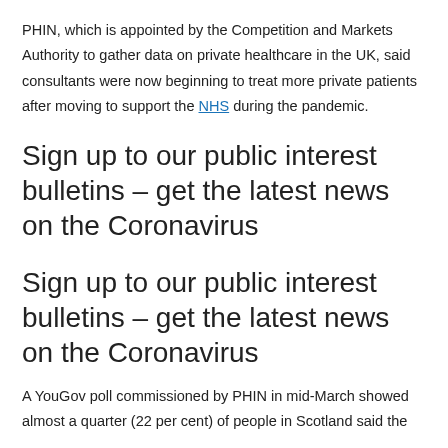PHIN, which is appointed by the Competition and Markets Authority to gather data on private healthcare in the UK, said consultants were now beginning to treat more private patients after moving to support the NHS during the pandemic.
Sign up to our public interest bulletins – get the latest news on the Coronavirus
Sign up to our public interest bulletins – get the latest news on the Coronavirus
A YouGov poll commissioned by PHIN in mid-March showed almost a quarter (22 per cent) of people in Scotland said the